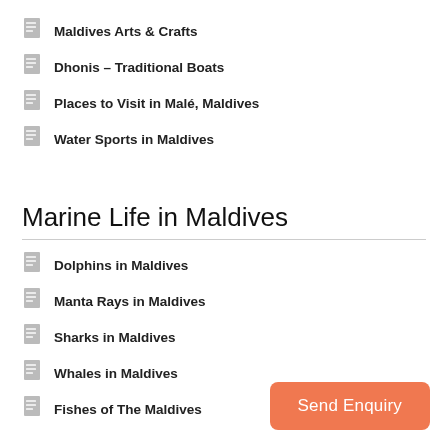Maldives Arts & Crafts
Dhonis – Traditional Boats
Places to Visit in Malé, Maldives
Water Sports in Maldives
Marine Life in Maldives
Dolphins in Maldives
Manta Rays in Maldives
Sharks in Maldives
Whales in Maldives
Fishes of The Maldives